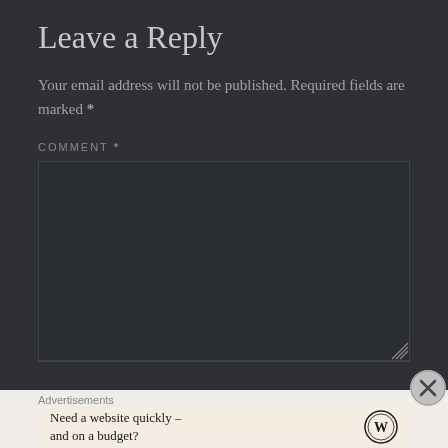Leave a Reply
Your email address will not be published. Required fields are marked *
COMMENT *
[Figure (screenshot): Empty comment textarea input box with dark background and border]
Advertisements
Need a website quickly – and on a budget?